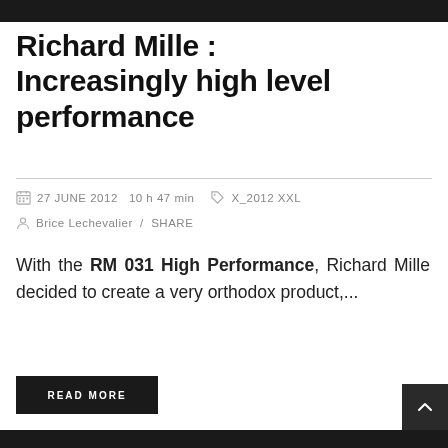[Figure (photo): Top portion of a dark/black and white photo, partially cropped at top of page]
Richard Mille : Increasingly high level performance
27 JUNE 2012  10 h 47 min   X_2012 XXL
Brice Lechevalier  /  SHARE
With the RM 031 High Performance, Richard Mille decided to create a very orthodox product,...
READ MORE
[Figure (photo): Bottom portion of a dark/warm-toned photo, partially cropped at bottom of page]